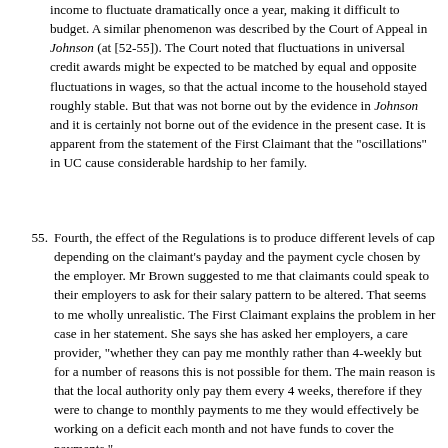income to fluctuate dramatically once a year, making it difficult to budget. A similar phenomenon was described by the Court of Appeal in Johnson (at [52-55]). The Court noted that fluctuations in universal credit awards might be expected to be matched by equal and opposite fluctuations in wages, so that the actual income to the household stayed roughly stable. But that was not borne out by the evidence in Johnson and it is certainly not borne out of the evidence in the present case. It is apparent from the statement of the First Claimant that the "oscillations" in UC cause considerable hardship to her family.
55. Fourth, the effect of the Regulations is to produce different levels of cap depending on the claimant's payday and the payment cycle chosen by the employer. Mr Brown suggested to me that claimants could speak to their employers to ask for their salary pattern to be altered. That seems to me wholly unrealistic. The First Claimant explains the problem in her case in her statement. She says she has asked her employers, a care provider, "whether they can pay me monthly rather than 4-weekly but for a number of reasons this is not possible for them. The main reason is that the local authority only pay them every 4 weeks, therefore if they were to change to monthly payments to me they would effectively be working on a deficit each month and not have funds to cover the payments."